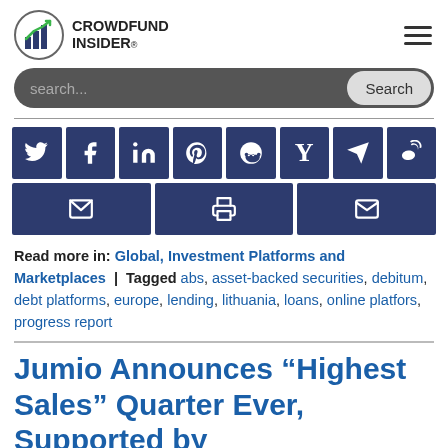CROWDFUND INSIDER
[Figure (screenshot): Search bar with 'search...' placeholder and 'Search' button]
[Figure (infographic): Social media share buttons: Twitter, Facebook, LinkedIn, Pinterest, Reddit, Hacker News, Telegram, Weibo, Email, Print, Email (second row)]
Read more in: Global, Investment Platforms and Marketplaces | Tagged abs, asset-backed securities, debitum, debt platforms, europe, lending, lithuania, loans, online platfors, progress report
Jumio Announces “Highest Sales” Quarter Ever, Supported by